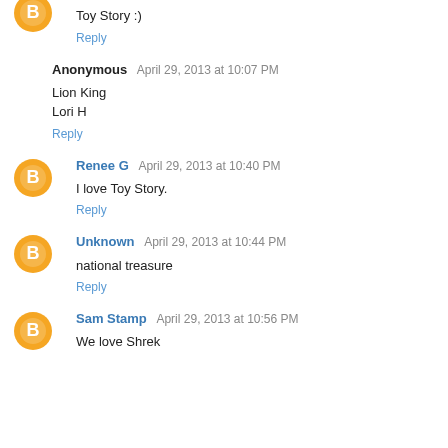Toy Story :)
Reply
Anonymous  April 29, 2013 at 10:07 PM
Lion King
Lori H
Reply
Renee G  April 29, 2013 at 10:40 PM
I love Toy Story.
Reply
Unknown  April 29, 2013 at 10:44 PM
national treasure
Reply
Sam Stamp  April 29, 2013 at 10:56 PM
We love Shrek